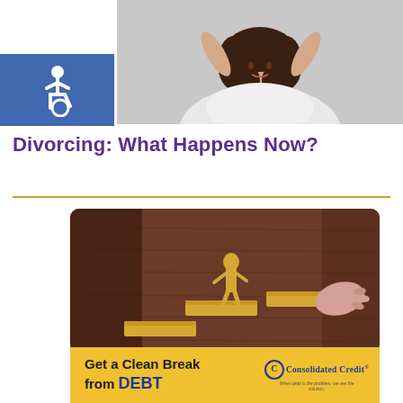[Figure (photo): Woman with curly brown hair holding her hands behind her head, looking upward thoughtfully, wearing a white shirt, on a gray background]
[Figure (illustration): Accessibility wheelchair icon — white symbol on blue square background]
Divorcing: What Happens Now?
[Figure (photo): Wooden figure of a person climbing stairs made of wooden blocks on a dark wood surface, with a hand placing the next step]
[Figure (infographic): Yellow banner reading 'Get a Clean Break from DEBT' with Consolidated Credit logo on the right]